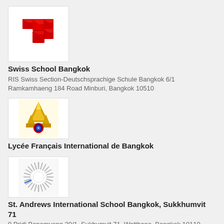[Figure (logo): Swiss School Bangkok red cross logo]
Swiss School Bangkok
RIS Swiss Section-Deutschsprachige Schule Bangkok 6/1 Ramkamhaeng 184 Road Minburi, Bangkok 10510
[Figure (logo): Lycée Français International de Bangkok logo with golden temple and gem]
Lycée Français International de Bangkok
[Figure (logo): St. Andrews International School Bangkok sunburst logo]
St. Andrews International School Bangkok, Sukkhumvit 71
9 Pridi Banomyong 20/1, Sukhumvit 71, Watthana, Bangkok 10110 THAILAND
[Figure (logo): Acorns to Oaktrees Childcare Centre logo with circular dark red swirl and 'atoc' text]
Acorns to Oaktrees Childcare Centre
80 Phatanavej 12, Pridi Banomyong 14, Sukhumvit 71, Bangkok